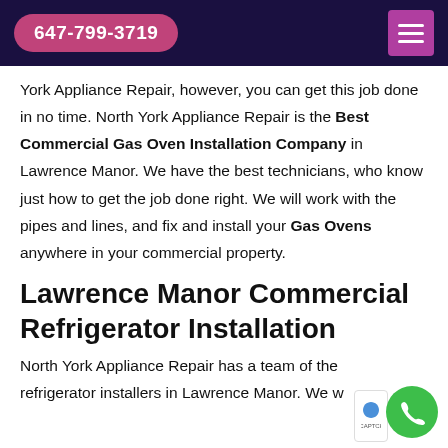647-799-3719
York Appliance Repair, however, you can get this job done in no time. North York Appliance Repair is the Best Commercial Gas Oven Installation Company in Lawrence Manor. We have the best technicians, who know just how to get the job done right. We will work with the pipes and lines, and fix and install your Gas Ovens anywhere in your commercial property.
Lawrence Manor Commercial Refrigerator Installation
North York Appliance Repair has a team of the refrigerator installers in Lawrence Manor. We w